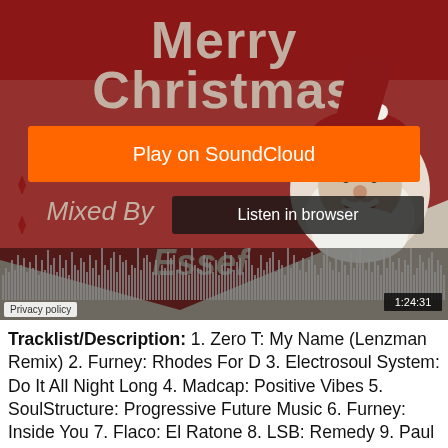[Figure (screenshot): SoundCloud embedded player showing a 'Merry Christmas Mixed By Essef' mixtape. The player displays a vintage Christmas-themed artwork with Santa Claus, an orange 'Play on SoundCloud' button, a dark 'Listen in browser' button, an audio waveform visualization, and a timestamp of 1:24:31.]
Privacy policy
Tracklist/Description: 1. Zero T: My Name (Lenzman Remix) 2. Furney: Rhodes For D 3. Electrosoul System: Do It All Night Long 4. Madcap: Positive Vibes 5. SoulStructure: Progressive Future Music 6. Furney: Inside You 7. Flaco: El Ratone 8. LSB: Remedy 9. Paul SG: My Heart ft Grimm 10.